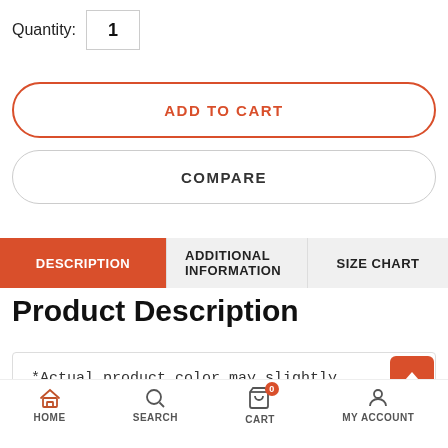Quantity: 1
ADD TO CART
COMPARE
DESCRIPTION  ADDITIONAL INFORMATION  SIZE CHART
Product Description
*Actual product color may slightly vary from the image
HOME  SEARCH  CART  MY ACCOUNT